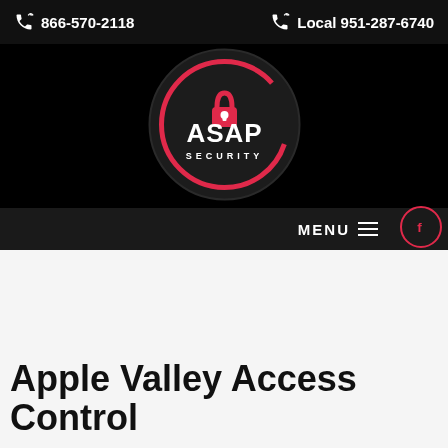866-570-2118    Local 951-287-6740
[Figure (logo): ASAP Security circular logo with a padlock icon in red/pink on a dark background, text 'ASAP SECURITY']
MENU
[Figure (illustration): Watermark background showing faint text/graphical elements in light gray]
Apple Valley Access Control